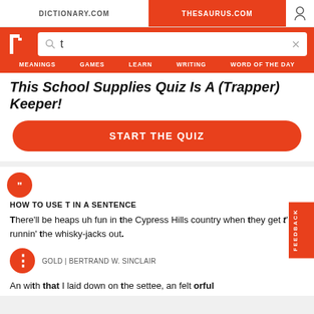DICTIONARY.COM | THESAURUS.COM
[Figure (screenshot): Thesaurus.com website header with logo, search bar containing 't', and navigation menu with MEANINGS, GAMES, LEARN, WRITING, WORD OF THE DAY]
This School Supplies Quiz Is A (Trapper) Keeper!
START THE QUIZ
HOW TO USE T IN A SENTENCE
There'll be heaps uh fun in the Cypress Hills country when they get t' runnin' the whisky-jacks out.
GOLD | BERTRAND W. SINCLAIR
An with that I laid down on the settee, an felt orful